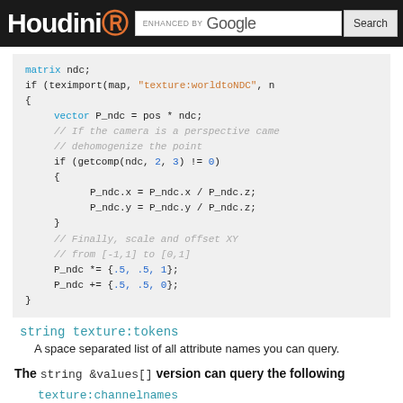Houdini | ENHANCED BY Google | Search
[Figure (screenshot): Code block showing VEX shader code with syntax highlighting: matrix ndc declaration, teximport call, vector P_ndc assignment, perspective camera dehomogenization, and NDC scaling/offset operations.]
string texture:tokens
A space separated list of all attribute names you can query.
The string &values[] version can query the following
texture:channelnames
List of all the raster plane channel names.